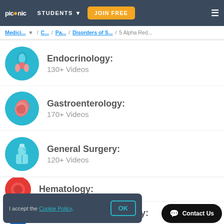picmonic | STUDENTS ▼ | JOIN FREE
Medici... ▼ / C... / Pa... / Disorders of S... / 5 Alpha Red...
Endocrinology: 130+ Videos
Gastroenterology: 170+ Videos
General Surgery: 120+ Videos
Hematology:
Immunology & Oncology:
I accept the Cookie Policy.
OK
Contact Us